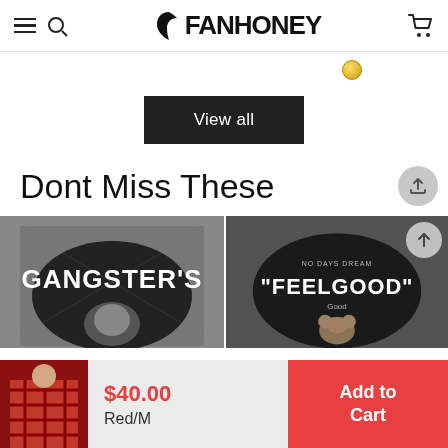FANHONEY
[Figure (screenshot): Yellow navigation dot indicator]
View all
Dont Miss These
[Figure (photo): Black t-shirt with GANGSTER'S graphic print, person shown from behind]
[Figure (photo): Black sweatshirt with FEELGOOD quote and teddy bear graphic, person shown from behind]
$40.00
Red/M
Add to Cart